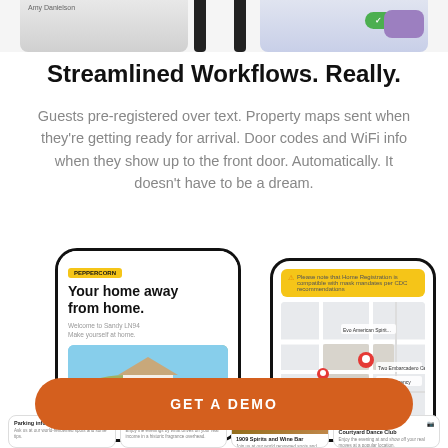[Figure (screenshot): Top partial screenshot of app UI showing two phone screens cropped at top]
Streamlined Workflows. Really.
Guests pre-registered over text. Property maps sent when they're getting ready for arrival. Door codes and WiFi info when they show up to the front door. Automatically. It doesn't have to be a dream.
[Figure (screenshot): Two smartphone mockups showing app: left phone shows 'Your home away from home.' with Peppercorn badge and beach house image; right phone shows a yellow warning banner and a map view]
[Figure (screenshot): Orange CTA button reading GET A DEMO]
[Figure (screenshot): Bottom strip showing partial app cards: Parking information, Using the fireplace, 1909 Spirits and Wine Bar, Courtyard Dance Club]